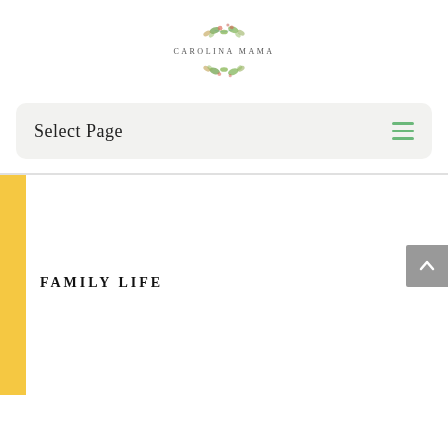[Figure (logo): Carolina Mama blog logo with floral decorations above and below the text 'CAROLINA MAMA']
Select Page
FAMILY LIFE